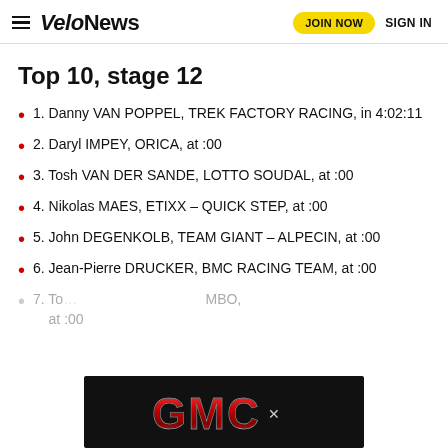VeloNews — JOIN NOW   SIGN IN
Top 10, stage 12
1. Danny VAN POPPEL, TREK FACTORY RACING, in 4:02:11
2. Daryl IMPEY, ORICA, at :00
3. Tosh VAN DER SANDE, LOTTO SOUDAL, at :00
4. Nikolas MAES, ETIXX – QUICK STEP, at :00
5. John DEGENKOLB, TEAM GIANT – ALPECIN, at :00
6. Jean-Pierre DRUCKER, BMC RACING TEAM, at :00
7. To... MBO, at :00
[Figure (logo): GMC logo advertisement overlay]